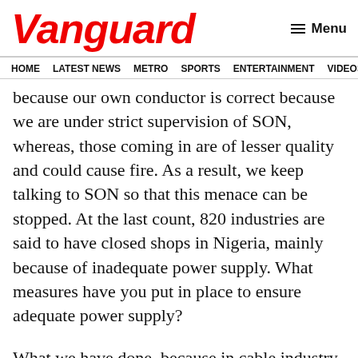Vanguard
HOME  LATEST NEWS  METRO  SPORTS  ENTERTAINMENT  VIDEOS
because our own conductor is correct because we are under strict supervision of SON, whereas, those coming in are of lesser quality and could cause fire. As a result, we keep talking to SON so that this menace can be stopped. At the last count, 820 industries are said to have closed shops in Nigeria, mainly because of inadequate power supply. What measures have you put in place to ensure adequate power supply?
What we have done, because in cable industry there are even some aspect of manufactured